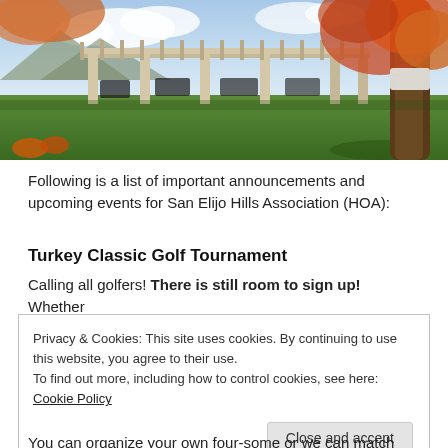[Figure (photo): Outdoor photo of a golf club or community center with a pergola/pavilion structure, green lawn, autumn trees with orange and red leaves, mountains in background, blue sky with clouds.]
Following is a list of important announcements and upcoming events for San Elijo Hills Association (HOA):
Turkey Classic Golf Tournament
Calling all golfers! There is still room to sign up! Whether
Privacy & Cookies: This site uses cookies. By continuing to use this website, you agree to their use.
To find out more, including how to control cookies, see here: Cookie Policy
You can organize your own four-some or we can match